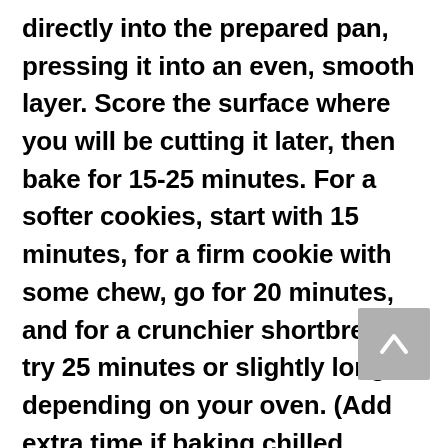directly into the prepared pan, pressing it into an even, smooth layer. Score the surface where you will be cutting it later, then bake for 15-25 minutes. For a softer cookies, start with 15 minutes, for a firm cookie with some chew, go for 20 minutes, and for a crunchier shortbread try 25 minutes or slightly longer depending on your oven. (Add extra time if baking chilled dough!)